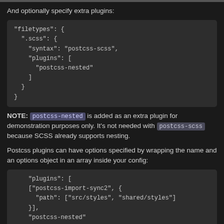And optionally specify extra plugins:
[Figure (screenshot): Code block showing JSON config with filetypes, .scss, syntax: postcss-scss, and plugins: [postcss-nested]]
NOTE: postcss-nested is added as an extra plugin for demonstration purposes only. It's not needed with postcss-scss because SCSS already supports nesting.
Postcss plugins can have options specified by wrapping the name and an options object in an array inside your config:
[Figure (screenshot): Code block showing plugins array with postcss-import-sync2 with path options and postcss-nested]